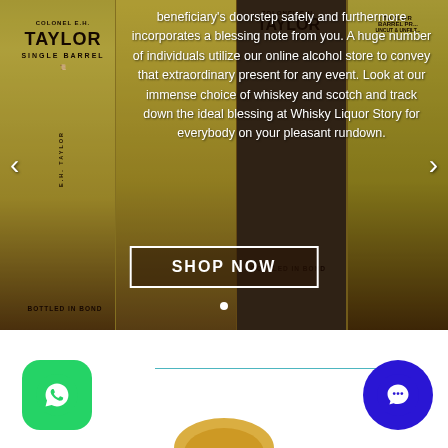[Figure (photo): Whiskey bottles (Colonel E.H. Taylor brand: Single Barrel and Barrel Proof varieties, Bottled in Bond) displayed side by side as a product hero image for an online liquor store slider. Navigation arrows on left and right sides, white overlay text, and a 'SHOP NOW' button.]
beneficiary's doorstep safely and furthermore incorporates a blessing note from you. A huge number of individuals utilize our online alcohol store to convey that extraordinary present for any event. Look at our immense choice of whiskey and scotch and track down the ideal blessing at Whisky Liquor Story for everybody on your pleasant rundown.
[Figure (logo): WhatsApp icon (green rounded square with white phone symbol) bottom left, and blue circular chat/message icon bottom right. A thin teal horizontal dividing line separates the slider from the bottom section.]